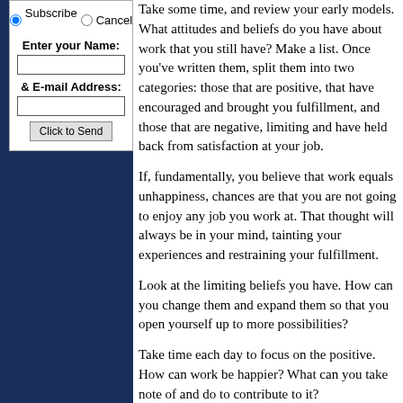career fulfillment ezine.
Subscribe  Cancel
Enter your Name:
& E-mail Address:
Click to Send
Take some time, and review your early models. What attitudes and beliefs do you have about work that you still have? Make a list. Once you've written them, split them into two categories: those that are positive, that have encouraged and brought you fulfillment, and those that are negative, limiting and have held back from satisfaction at your job.
If, fundamentally, you believe that work equals unhappiness, chances are that you are not going to enjoy any job you work at. That thought will always be in your mind, tainting your experiences and restraining your fulfillment.
Look at the limiting beliefs you have. How can you change them and expand them so that you open yourself up to more possibilities?
Take time each day to focus on the positive. How can work be happier? What can you take note of and do to contribute to it?